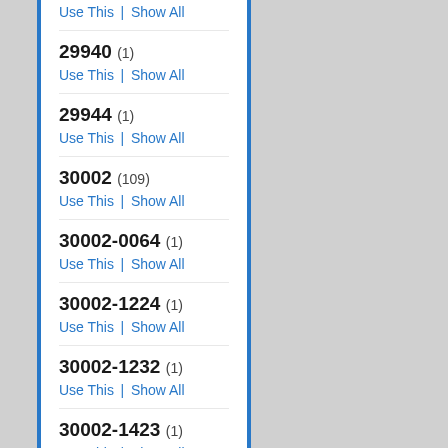Use This | Show All
29940 (1)
Use This | Show All
29944 (1)
Use This | Show All
30002 (109)
Use This | Show All
30002-0064 (1)
Use This | Show All
30002-1224 (1)
Use This | Show All
30002-1232 (1)
Use This | Show All
30002-1423 (1)
Use This | Show All
30002-1435 (1)
Use This | Show All